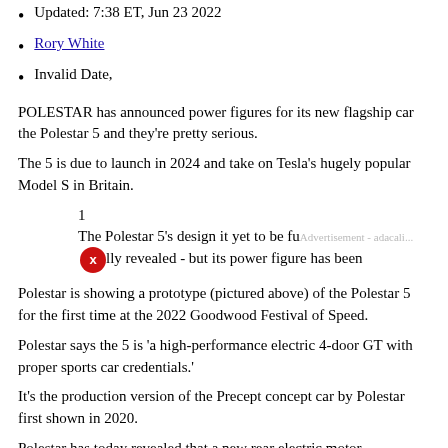Updated: 7:38 ET, Jun 23 2022
Rory White
Invalid Date,
POLESTAR has announced power figures for its new flagship car the Polestar 5 and they're pretty serious.
The 5 is due to launch in 2024 and take on Tesla's hugely popular Model S in Britain.
1
The Polestar 5's design it yet to be fully revealed - but its power figure has been
Polestar is showing a prototype (pictured above) of the Polestar 5 for the first time at the 2022 Goodwood Festival of Speed.
Polestar says the 5 is 'a high-performance electric 4-door GT with proper sports car credentials.'
It's the production version of the Precept concept car by Polestar first shown in 2020.
Polestar has today revealed that a new rear electric motor